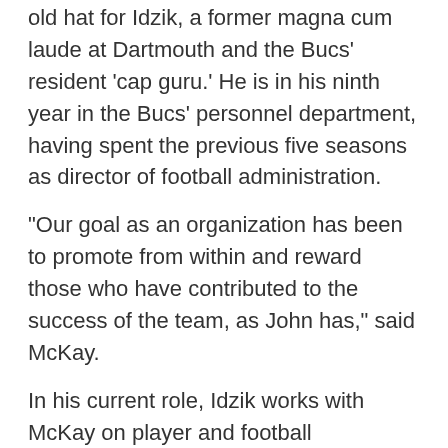old hat for Idzik, a former magna cum laude at Dartmouth and the Bucs' resident 'cap guru.' He is in his ninth year in the Bucs' personnel department, having spent the previous five seasons as director of football administration.
"Our goal as an organization has been to promote from within and reward those who have contributed to the success of the team, as John has," said McKay.
In his current role, Idzik works with McKay on player and football operations contracts, and helps plan the team's salary cap maneuverings. He also acts as a liaison to the league on contract, salary cap and player personnel matters, and evaluates player talent. If that's not enough, Idzik directs the team's travel and computer operations.
[Figure (other): Social sharing icons: Facebook, Twitter, Email, and a link/copy icon, displayed as outlined circles at the bottom of the page.]